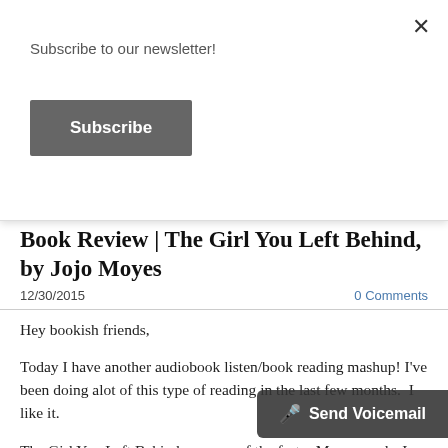Subscribe to our newsletter!
[Figure (screenshot): Subscribe button — dark gray rectangular button with white bold text 'Subscribe']
Book Review | The Girl You Left Behind, by Jojo Moyes
12/30/2015
0 Comments
Hey bookish friends,
Today I have another audiobook listen/book reading mashup! I've been doing alot of this type of reading in the last few months.  I like it.
The Girl You Left Behind was one of the faster Moyes reads. I finished this book in 2 days! Of which, one of those days was a work day, so I only got a couple hours in reading and the rest of the work d... I ... audiobook. Followed by a Saturda...